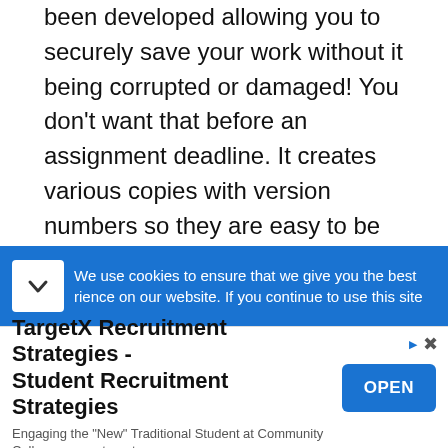been developed allowing you to securely save your work without it being corrupted or damaged! You don't want that before an assignment deadline. It creates various copies with version numbers so they are easy to be tracked.
You can now also add your favorite Links and Documents to a list with reminders to check, this can be useful if you want to hand in work close to the date.
We use cookies to ensure that we give you the best experience on our website. If you continue to use this site
TargetX Recruitment Strategies - Student Recruitment Strategies
Engaging the "New" Traditional Student at Community Colleges. page.targetx.com